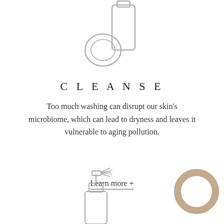[Figure (illustration): Line drawing of a cleansing product bottle with a round cotton pad or sponge beside it]
CLEANSE
Too much washing can disrupt our skin's microbiome, which can lead to dryness and leaves it vulnerable to aging pollution.
Learn more +
[Figure (illustration): Line drawing of a spray bottle]
[Figure (illustration): Brown/beige decorative circle ring shape in bottom right corner]